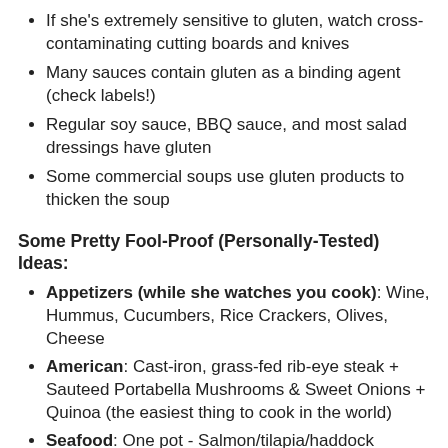If she's extremely sensitive to gluten, watch cross-contaminating cutting boards and knives
Many sauces contain gluten as a binding agent (check labels!)
Regular soy sauce, BBQ sauce, and most salad dressings have gluten
Some commercial soups use gluten products to thicken the soup
Some Pretty Fool-Proof (Personally-Tested) Ideas:
Appetizers (while she watches you cook): Wine, Hummus, Cucumbers, Rice Crackers, Olives, Cheese
American: Cast-iron, grass-fed rib-eye steak + Sauteed Portabella Mushrooms & Sweet Onions + Quinoa (the easiest thing to cook in the world)
Seafood: One pot - Salmon/tilapia/haddock sauteed with chives, tomatoes, and green squash